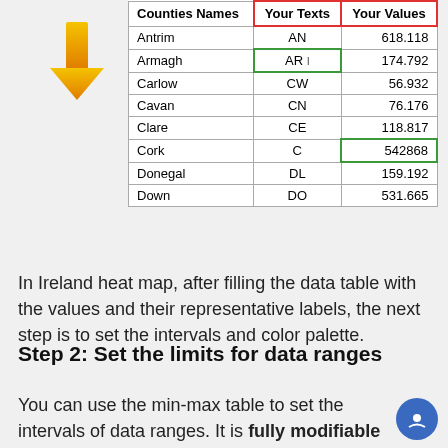| Counties Names | Your Texts | Your Values |
| --- | --- | --- |
| Antrim | AN | 618.118 |
| Armagh | AR | 174.792 |
| Carlow | CW | 56.932 |
| Cavan | CN | 76.176 |
| Clare | CE | 118.817 |
| Cork | C | 542868 |
| Donegal | DL | 159.192 |
| Down | DO | 531.665 |
In Ireland heat map, after filling the data table with the values and their representative labels, the next step is to set the intervals and color palette.
Step 2: Set the limits for data ranges
You can use the min-max table to set the intervals of data ranges. It is fully modifiable and you can update it